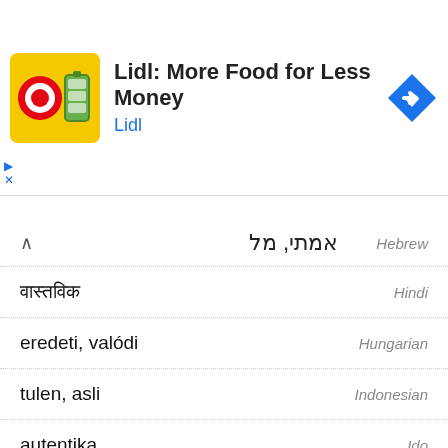[Figure (screenshot): Lidl advertisement banner with app icon, title 'Lidl: More Food for Less Money', subtitle 'Lidl', and a blue navigation arrow icon on the right]
אמתי, מל | Hebrew
वास्तविक | Hindi
eredeti, valódi | Hungarian
tulen, asli | Indonesian
autentika | Ido
genuino | Italian
本物 | Japanese
genuina | Latin
Tete, Istene | Latvian